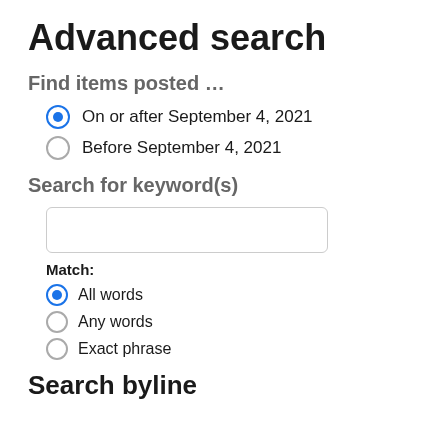Advanced search
Find items posted …
On or after September 4, 2021
Before September 4, 2021
Search for keyword(s)
Match:
All words
Any words
Exact phrase
Search byline